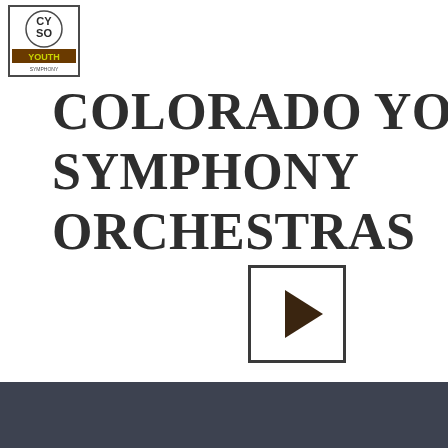[Figure (logo): Colorado Youth Symphony Orchestras logo — circular emblem with CYSO text and Youth Symphony label]
[Figure (other): Hamburger menu icon (three horizontal lines)]
COLORADO YOUTH SYMPHONY ORCHESTRAS
[Figure (other): Video play button — square outline with right-pointing triangle inside]
[Figure (other): Dark gray banner bar]
emotional growth, high self-esteem, and a lifelong love of music.
Phone   Email   Facebook